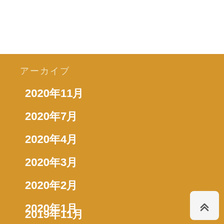アーカイブ
2020年11月
2020年7月
2020年4月
2020年3月
2020年2月
2020年1月
2019年11月